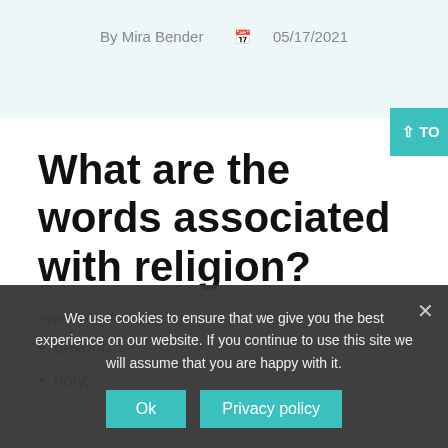By Mira Bender  05/17/2021
What are the words associated with religion?
synonyms for religious
devout.
holy.
We use cookies to ensure that we give you the best experience on our website. If you continue to use this site we will assume that you are happy with it.